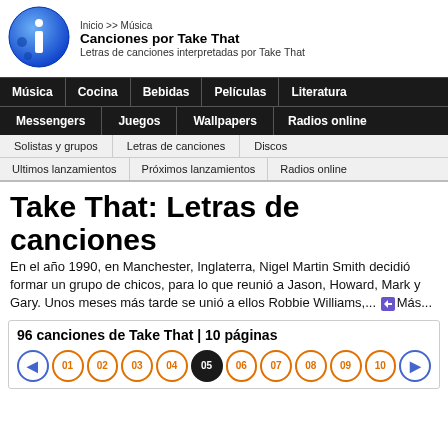Inicio >> Música | Canciones por Take That | Letras de canciones interpretadas por Take That
Música | Cocina | Bebidas | Películas | Literatura
Messengers | Juegos | Wallpapers | Radios online
Solistas y grupos | Letras de canciones | Discos
Ultimos lanzamientos | Próximos lanzamientos | Radios online
Take That: Letras de canciones
En el año 1990, en Manchester, Inglaterra, Nigel Martin Smith decidió formar un grupo de chicos, para lo que reunió a Jason, Howard, Mark y Gary. Unos meses más tarde se unió a ellos Robbie Williams,... Más...
96 canciones de Take That | 10 páginas
01 02 03 04 05 06 07 08 09 10